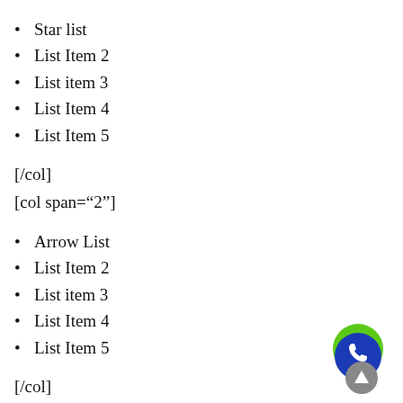Star list
List Item 2
List item 3
List Item 4
List Item 5
[/col]
[col span="2"]
Arrow List
List Item 2
List item 3
List Item 4
List Item 5
[/col]
[Figure (illustration): Green and blue phone button icon with scroll-to-top arrow, bottom-right corner]